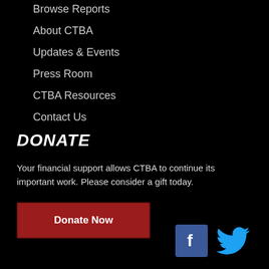Browse Reports
About CTBA
Updates & Events
Press Room
CTBA Resources
Contact Us
DONATE
Your financial support allows CTBA to continue its important work. Please consider a gift today.
Donate Now
[Figure (logo): Facebook and Twitter social media icons]